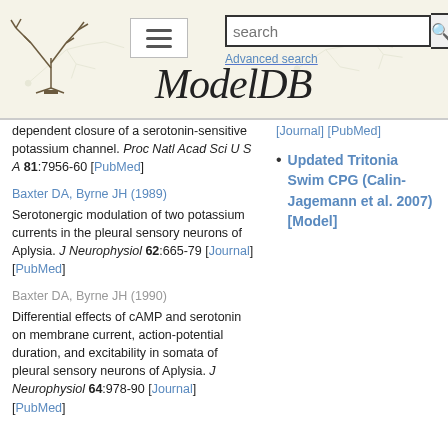[Figure (screenshot): ModelDB website header with logo, hamburger menu button, search bar, and ModelDB italic title text on a tan/beige background with neuron diagrams]
dependent closure of a serotonin-sensitive potassium channel. Proc Natl Acad Sci U S A 81:7956-60 [PubMed]
Updated Tritonia Swim CPG (Calin-Jagemann et al. 2007) [Model]
Baxter DA, Byrne JH (1989)
Serotonergic modulation of two potassium currents in the pleural sensory neurons of Aplysia. J Neurophysiol 62:665-79 [Journal] [PubMed]
Baxter DA, Byrne JH (1990)
Differential effects of cAMP and serotonin on membrane current, action-potential duration, and excitability in somata of pleural sensory neurons of Aplysia. J Neurophysiol 64:978-90 [Journal] [PubMed]